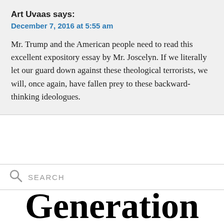Art Uvaas says:
December 7, 2016 at 5:55 am
Mr. Trump and the American people need to read this excellent expository essay by Mr. Joscelyn. If we literally let our guard down against these theological terrorists, we will, once again, have fallen prey to these backward-thinking ideologues.
SEARCH
Generation